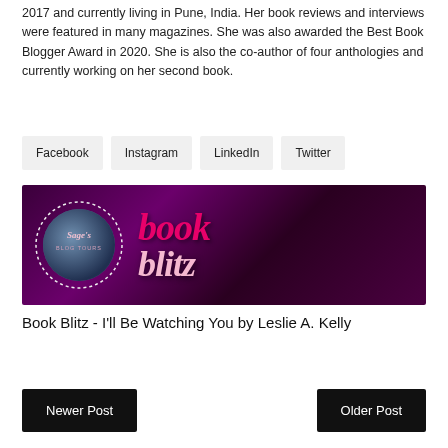2017 and currently living in Pune, India. Her book reviews and interviews were featured in many magazines. She was also awarded the Best Book Blogger Award in 2020. She is also the co-author of four anthologies and currently working on her second book.
Facebook
Instagram
LinkedIn
Twitter
[Figure (photo): Sage's Blog Tours book blitz banner with a moon logo on left and pink cursive 'book blitz' text on a dark purple background]
Book Blitz - I'll Be Watching You by Leslie A. Kelly
Newer Post
Older Post